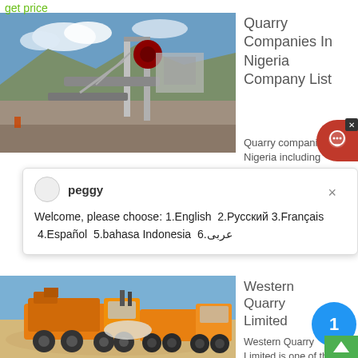get price
[Figure (photo): Quarry crushing plant with blue sky and mountains in background]
Quarry Companies In Nigeria Company List
Quarry companies Nigeria including
peggy
Welcome, please choose: 1.English  2.Русский 3.Français  4.Español  5.bahasa Indonesia  6.عربى
[Figure (photo): Yellow/orange mobile crushing and grinding machinery trucks on sandy terrain]
Western Quarry Limited
Western Quarry Limited is one of the biggest crushing and grinding industry in Ogun State. Nigeria. Since the